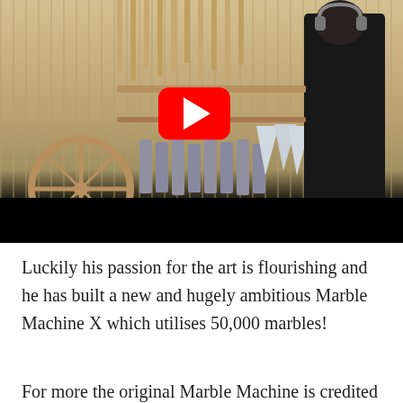[Figure (photo): A large wooden mechanical marble machine with gears, levers, and xylophone-like components. A person wearing headphones and dressed in black is operating/examining the machine on the right side. A YouTube play button overlay (red rounded rectangle with white triangle) is visible in the center of the image. A black bar appears at the bottom of the video frame.]
Luckily his passion for the art is flourishing and he has built a new and hugely ambitious Marble Machine X which utilises 50,000 marbles!
For more the original Marble Machine is credited as...